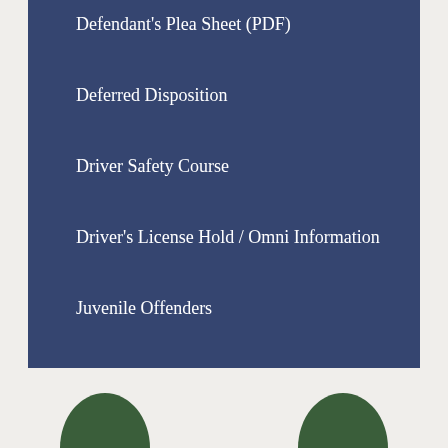Defendant's Plea Sheet (PDF)
Deferred Disposition
Driver Safety Course
Driver's License Hold / Omni Information
Juvenile Offenders
Payment Plan Application